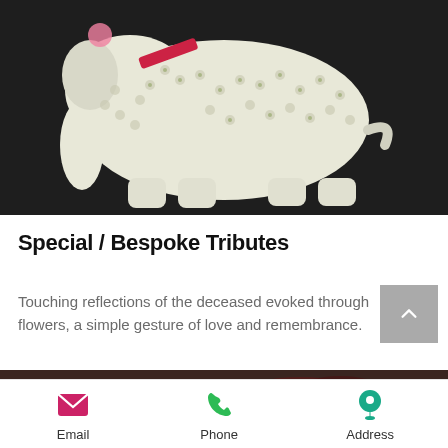[Figure (photo): A floral tribute arranged in the shape of an elephant made of white chrysanthemum flowers on a dark background, with a pink ribbon accent.]
Special / Bespoke Tributes
Touching reflections of the deceased evoked through flowers, a simple gesture of love and remembrance.
[Figure (photo): Partial view of a dark floral arrangement at the bottom of the page.]
Email  Phone  Address